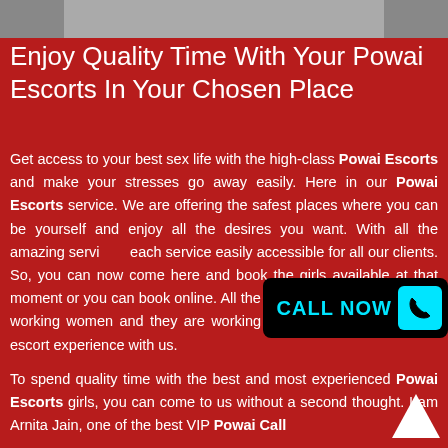[Figure (photo): Partial photo strip at top of page showing a person]
Enjoy Quality Time With Your Powai Escorts In Your Chosen Place
Get access to your best sex life with the high-class Powai Escorts and make your stresses go away easily. Here in our Powai Escorts service. We are offering the safest places where you can be yourself and enjoy all the desires you want. With all the amazing services, we are making each service easily accessible for all our clients. So, you can now come here and book the girls available at that moment or you can book online. All the Powai Call Girls are hard-working women and they are working hard to give you the best escort experience with us.
To spend quality time with the best and most experienced Powai Escorts girls, you can come to us without a second thought. I am Arnita Jain, one of the best VIP Powai Call